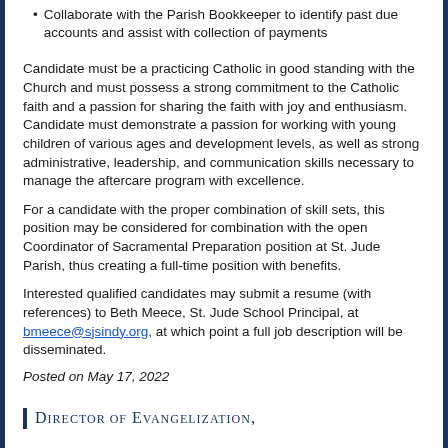Collaborate with the Parish Bookkeeper to identify past due accounts and assist with collection of payments
Candidate must be a practicing Catholic in good standing with the Church and must possess a strong commitment to the Catholic faith and a passion for sharing the faith with joy and enthusiasm.   Candidate must demonstrate a passion for working with young children of various ages and development levels, as well as strong administrative, leadership, and communication skills necessary to manage the aftercare program with excellence.
For a candidate with the proper combination of skill sets, this position may be considered for combination with the open Coordinator of Sacramental Preparation position at St. Jude Parish, thus creating a full-time position with benefits.
Interested qualified candidates may submit a resume (with references) to Beth Meece, St. Jude School Principal, at bmeece@sjsindy.org, at which point a full job description will be disseminated.
Posted on May 17, 2022
Director of Evangelization,